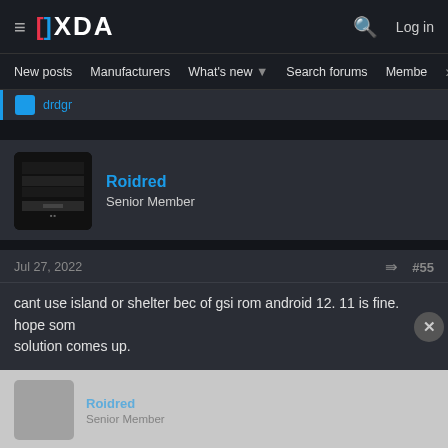XDA Forums — Navigation bar with hamburger, logo, search, and Log in
New posts  Manufacturers  What's new  Search forums  Members  >
...drdgr (partial, previous post)
Roidred
Senior Member
Jul 27, 2022  #55
cant use island or shelter bec of gsi rom android 12. 11 is fine. hope some solution comes up.
Roidred
Senior Member